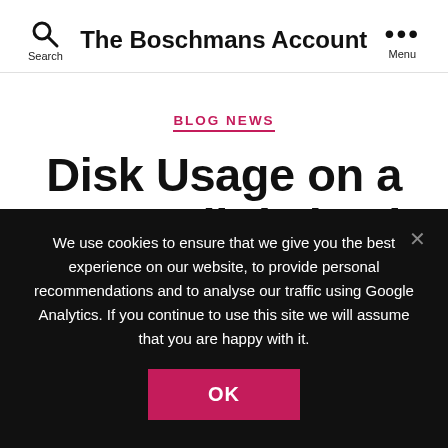The Boschmans Account
BLOG NEWS
Disk Usage on a mac : a little bash can take you a long way
We use cookies to ensure that we give you the best experience on our website, to provide personal recommendations and to analyse our traffic using Google Analytics. If you continue to use this site we will assume that you are happy with it.
OK